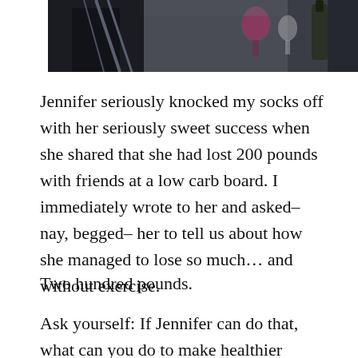[Figure (photo): A cropped photograph showing people at what appears to be a dining or social setting, with glasses and a wine bottle visible in the background.]
Jennifer seriously knocked my socks off with her seriously sweet success when she shared that she had lost 200 pounds with friends at a low carb board. I immediately wrote to her and asked–nay, begged– her to tell us about how she managed to lose so much… and without exercise.
Two hundred pounds.
Ask yourself: If Jennifer can do that, what can you do to make healthier choices today?